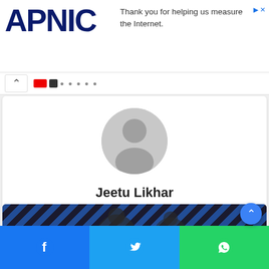[Figure (logo): APNIC logo in dark navy blue bold text on white background]
Thank you for helping us measure the Internet.
[Figure (screenshot): Navigation bar with back chevron, flag icons, and navigation dots]
[Figure (photo): Author profile card with grey default avatar silhouette, name Jeetu Likhar, home icon and Facebook icon]
Jeetu Likhar
[Figure (photo): Partial photo showing two people against a blue zigzag pattern background]
[Figure (screenshot): Social share bar with Facebook, Twitter, and WhatsApp buttons]